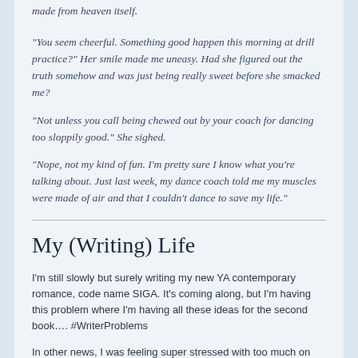made from heaven itself.
“You seem cheerful. Something good happen this morning at drill practice?” Her smile made me uneasy. Had she figured out the truth somehow and was just being really sweet before she smacked me?
“Not unless you call being chewed out by your coach for dancing too sloppily good.” She sighed.
“Nope, not my kind of fun. I’m pretty sure I know what you’re talking about. Just last week, my dance coach told me my muscles were made of air and that I couldn’t dance to save my life.”
My (Writing) Life
I’m still slowly but surely writing my new YA contemporary romance, code name SIGA. It’s coming along, but I’m having this problem where I’m having all these ideas for the second book…. #WriterProblems
In other news, I was feeling super stressed with too much on my plate, but I’m suddenly feeling lighter. I think I was stressing, without